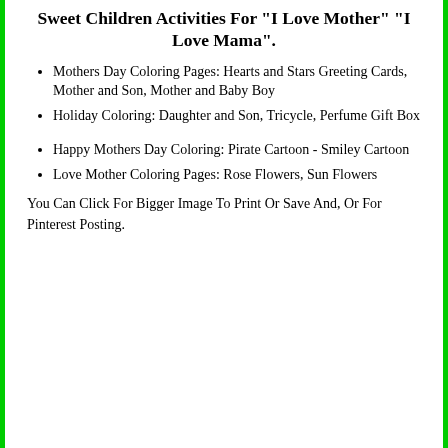Sweet Children Activities For "I Love Mother" "I Love Mama".
Mothers Day Coloring Pages: Hearts and Stars Greeting Cards, Mother and Son, Mother and Baby Boy
Holiday Coloring: Daughter and Son, Tricycle, Perfume Gift Box
Happy Mothers Day Coloring: Pirate Cartoon - Smiley Cartoon
Love Mother Coloring Pages: Rose Flowers, Sun Flowers
You Can Click For Bigger Image To Print Or Save And, Or For Pinterest Posting.